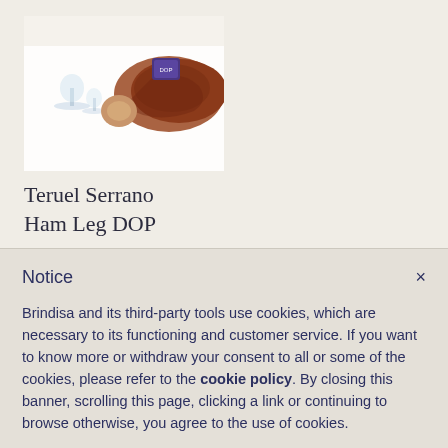[Figure (photo): Photo of a Teruel Serrano Ham Leg DOP product, showing a whole cured ham leg with a label, alongside wine glasses on a white background]
Teruel Serrano Ham Leg DOP
£175.00
Notice
Brindisa and its third-party tools use cookies, which are necessary to its functioning and customer service. If you want to know more or withdraw your consent to all or some of the cookies, please refer to the cookie policy. By closing this banner, scrolling this page, clicking a link or continuing to browse otherwise, you agree to the use of cookies.